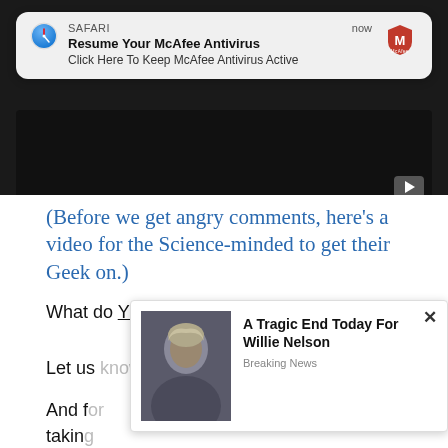[Figure (screenshot): Safari browser push notification banner showing McAfee antivirus ad. Icon: Safari compass. App name: SAFARI. Time: now. Title: Resume Your McAfee Antivirus. Body: Click Here To Keep McAfee Antivirus Active. McAfee shield logo on right.]
[Figure (screenshot): Dark video player area with a YouTube-style play button in bottom-right corner]
(Before we get angry comments, here’s a video for the Science-minded to get their Geek on.)
What do YOU think?
Let us know in the comments.
And for those of you who are thinking of taking
[Figure (screenshot): Ad popup overlay with photo of Willie Nelson and text: A Tragic End Today For Willie Nelson. Breaking News.]